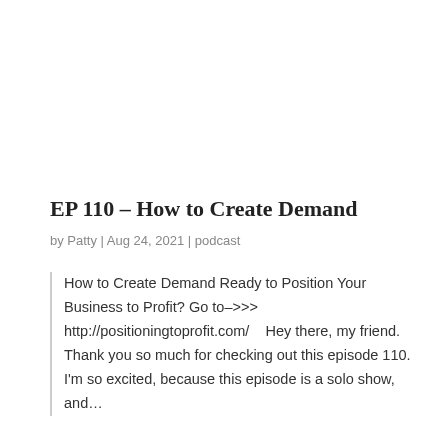EP 110 – How to Create Demand
by Patty | Aug 24, 2021 | podcast
How to Create Demand Ready to Position Your Business to Profit? Go to–>>> http://positioningtoprofit.com/   Hey there, my friend. Thank you so much for checking out this episode 110. I'm so excited, because this episode is a solo show, and…